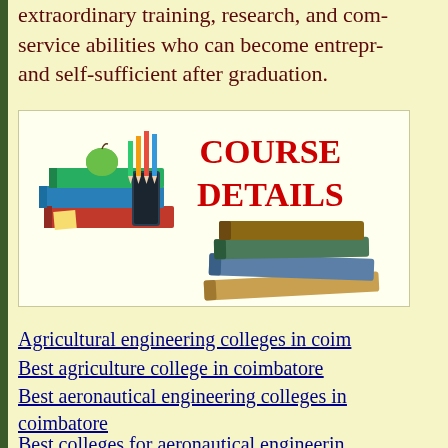extraordinary training, research, and com- service abilities who can become entrepr- and self-sufficient after graduation.
[Figure (illustration): Course Details banner with books, pencils, apple on left and stacked books on right, with red bold text 'COURSE DETAILS' in center]
Agricultural engineering colleges in coim
Best agriculture college in coimbatore
Best aeronautical engineering colleges in coimbatore
Best colleges for aeronautical engineerin